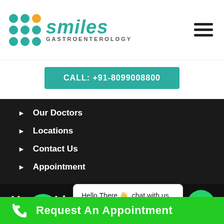[Figure (logo): Smiles Gastroenterology logo with teal and gold dot grid and teal italic text]
CALL: +91-8099008800
Our Doctors
Locations
Contact Us
Appointment
Useful Links
Hospitals
Gastroenterology
Smiles Leto
Hello There 👋, chat with us
Chat Now
Request An Appointment